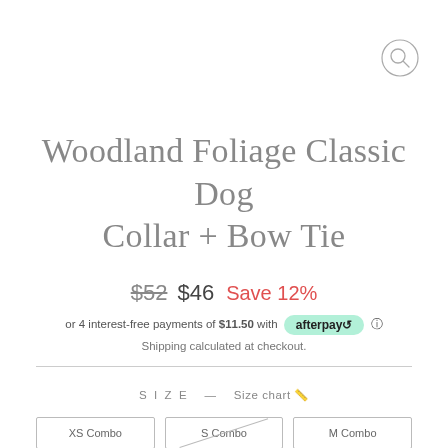[Figure (other): Search icon circle button in top right corner]
Woodland Foliage Classic Dog Collar + Bow Tie
$52  $46  Save 12%
or 4 interest-free payments of $11.50 with afterpay
Shipping calculated at checkout.
SIZE — Size chart
XS Combo  S Combo  M Combo